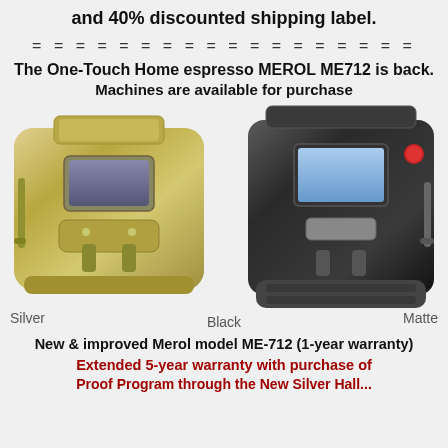and 40% discounted shipping label.
= = = = = = = = = = = = = = = = = =
The One-Touch Home espresso MEROL ME712 is back.
Machines are available for purchase
[Figure (photo): Two espresso machines side by side: a silver/champagne colored machine on the left and a dark matte black machine on the right. Labels: Silver (left), Black (center bottom), Matte (right).]
New & improved Merol model ME-712 (1-year warranty)
Extended 5-year warranty with purchase of
Proof Program through the New Silver Hall...